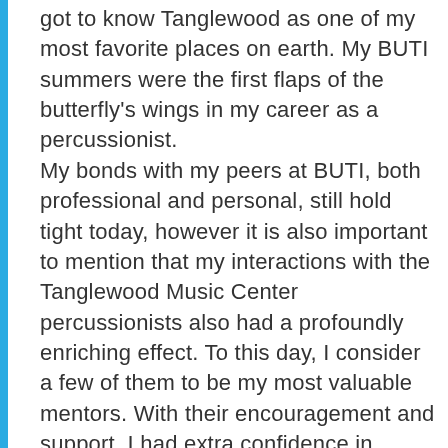got to know Tanglewood as one of my most favorite places on earth. My BUTI summers were the first flaps of the butterfly's wings in my career as a percussionist. My bonds with my peers at BUTI, both professional and personal, still hold tight today, however it is also important to mention that my interactions with the Tanglewood Music Center percussionists also had a profoundly enriching effect. To this day, I consider a few of them to be my most valuable mentors. With their encouragement and support, I had extra confidence in